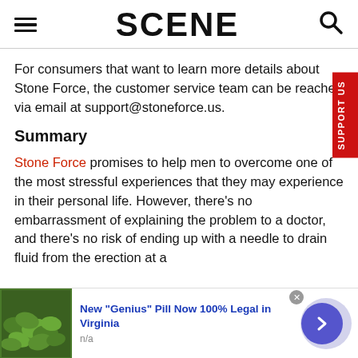SCENE
For consumers that want to learn more details about Stone Force, the customer service team can be reached via email at support@stoneforce.us.
Summary
Stone Force promises to help men to overcome one of the most stressful experiences that they may experience in their personal life. However, there's no embarrassment of explaining the problem to a doctor, and there's no risk of ending up with a needle to drain fluid from the erection at a
[Figure (illustration): Advertisement banner showing green pills/beans image with text 'New "Genius" Pill Now 100% Legal in Virginia' and a blue arrow button]